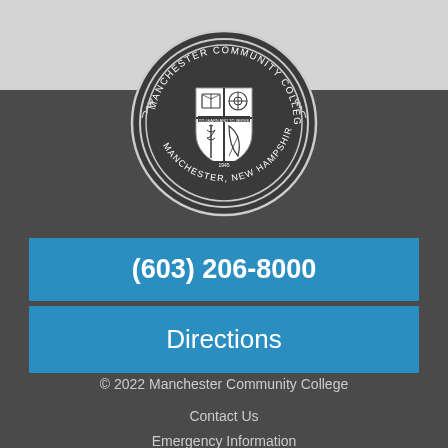[Figure (logo): Manchester Community College circular seal/logo with shield containing book, gear, caduceus, and leaf symbols. Text reads 'MANCHESTER COMMUNITY COLLEGE' around the top, 'MANCHESTER, NEW HAMPSHIRE' around the bottom, and '1945' at the bottom of the shield. Motto 'TO LEARN AND TO SERVE' on a banner.]
(603) 206-8000
Directions
© 2022 Manchester Community College
Contact Us
Emergency Information